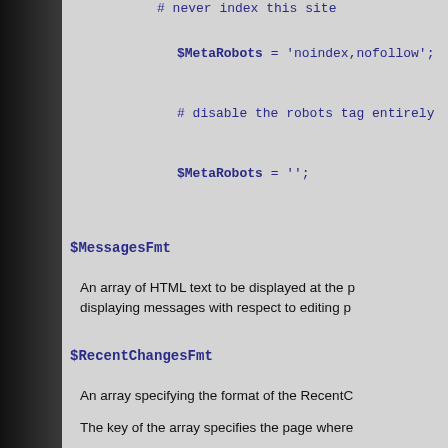# never index this site
$MetaRobots = 'noindex,nofollow';
# disable the robots tag entirely
$MetaRobots = '';
$MessagesFmt
An array of HTML text to be displayed at the p displaying messages with respect to editing p
$RecentChangesFmt
An array specifying the format of the RecentC
The key of the array specifies the page where
$RecentChangesFmt['$SiteGroup.AllR
The value of the array specifies the format in
'* [[{$Group}.{$Name}]]  . . .  $Cu
Note the two consecutive spaces before the t